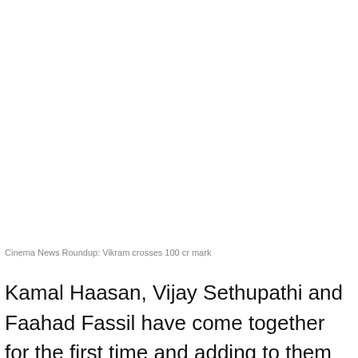Cinema News Roundup: Vikram crosses 100 cr mark
Kamal Haasan, Vijay Sethupathi and Faahad Fassil have come together for the first time and adding to them Karthi (voice over), Suriya as